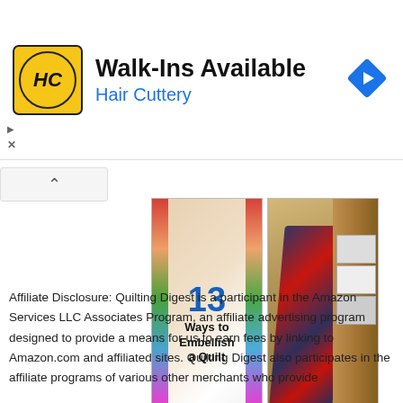[Figure (advertisement): Hair Cuttery advertisement banner with logo (HC in circle on yellow background), 'Walk-Ins Available' heading, 'Hair Cuttery' subtext in blue, and a blue diamond navigation arrow icon on the right]
[Figure (photo): Two quilting images side by side: left image shows '13 Ways to Embellish a Quilt' text on decorative background, right image shows a quilt draped over a wooden furniture piece]
[Figure (other): Follow Me on Pinterest button in red with Pinterest logo]
Affiliate Disclosure: Quilting Digest is a participant in the Amazon Services LLC Associates Program, an affiliate advertising program designed to provide a means for us to earn fees by linking to Amazon.com and affiliated sites. Quilting Digest also participates in the affiliate programs of various other merchants who provide